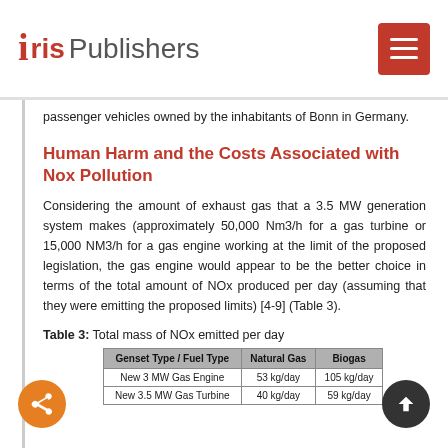Iris Publishers
passenger vehicles owned by the inhabitants of Bonn in Germany.
Human Harm and the Costs Associated with Nox Pollution
Considering the amount of exhaust gas that a 3.5 MW generation system makes (approximately 50,000 Nm3/h for a gas turbine or 15,000 NM3/h for a gas engine working at the limit of the proposed legislation, the gas engine would appear to be the better choice in terms of the total amount of NOx produced per day (assuming that they were emitting the proposed limits) [4-9] (Table 3).
Table 3: Total mass of NOx emitted per day
| Genset Type / Fuel Type | Natural Gas | Biogas |
| --- | --- | --- |
| New 3 MW Gas Engine | 53 kg/day | 105 kg/day |
| New 3.5 MW Gas Turbine | 40 kg/day | 59 kg/day |